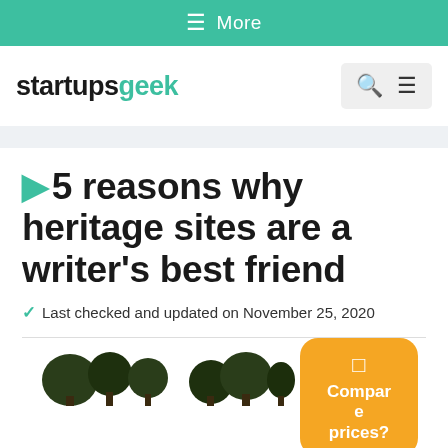≡ More
[Figure (logo): startupsgeek logo with 'startups' in black and 'geek' in teal/green, with search and hamburger menu icons]
▶ 5 reasons why heritage sites are a writer's best friend
✓ Last checked and updated on November 25, 2020
[Figure (photo): Tree silhouettes at bottom of page, partial image of heritage site surroundings]
Compare prices?